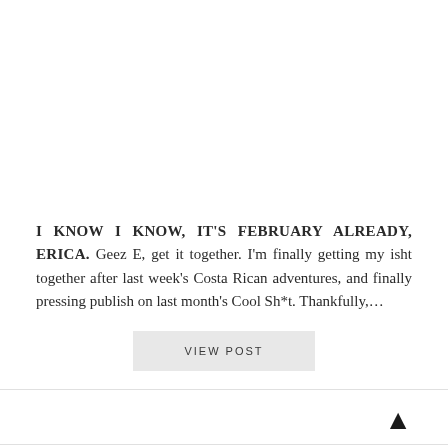I KNOW I KNOW, IT'S FEBRUARY ALREADY, ERICA. Geez E, get it together. I'm finally getting my isht together after last week's Costa Rican adventures, and finally pressing publish on last month's Cool Sh*t. Thankfully,…
VIEW POST
▲
COOL SH*T I LOVELOVELOVE –